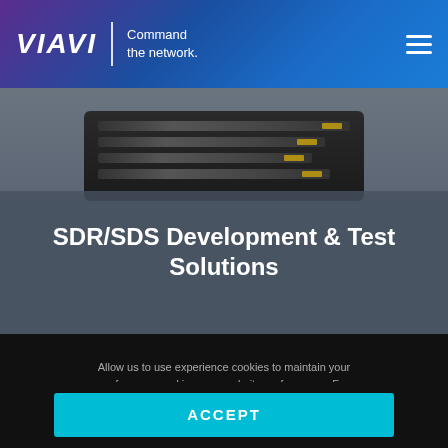VIAVI | Command the network.
[Figure (photo): VIAVI network test equipment device (rack-mounted hardware with multiple slots and LED indicators) shown against a grey background]
SDR/SDS Development & Test Solutions
Allow us to use experience cookies to maintain your preferences and improve website performance. For more information view our Privacy Policy or Cookie Preferences.
ACCEPT